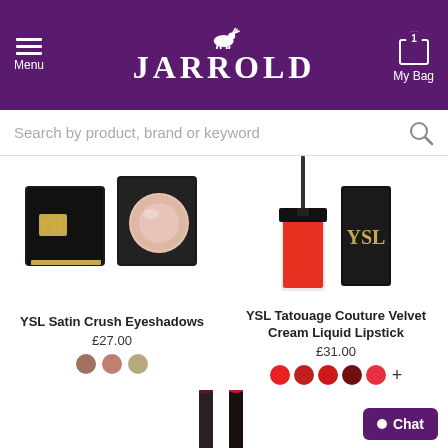JARROLD - Menu, My Bag (1 item)
Search by product, brand or keyword
[Figure (photo): YSL Satin Crush Eyeshadows product photo showing closed compact with YSL logo and open compact revealing nude/pink eyeshadow]
YSL Satin Crush Eyeshadows
£27.00
[Figure (photo): YSL Tatouage Couture Velvet Cream Liquid Lipstick product photo showing red liquid lipstick tube with applicator and black bottle with YSL logo]
YSL Tatouage Couture Velvet Cream Liquid Lipstick
£31.00
[Figure (photo): Partial view of lipstick products at bottom of page - two lipstick bullets/sticks in dark and red colors]